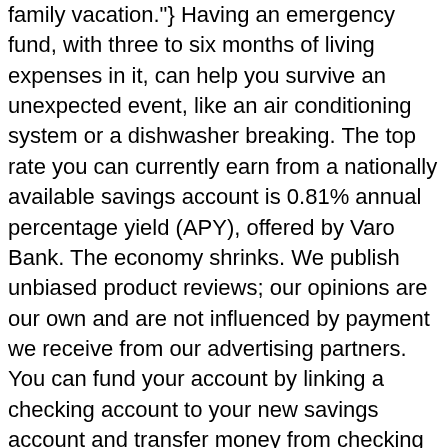family vacation."} Having an emergency fund, with three to six months of living expenses in it, can help you survive an unexpected event, like an air conditioning system or a dishwasher breaking. The top rate you can currently earn from a nationally available savings account is 0.81% annual percentage yield (APY), offered by Varo Bank. The economy shrinks. We publish unbiased product reviews; our opinions are our own and are not influenced by payment we receive from our advertising partners. You can fund your account by linking a checking account to your new savings account and transfer money from checking to savings. By opening two accounts, you can keep these two different pots of money visually and mentally separate, making it easy to see how much you've accumulated towards your vacation goal. This week's top savings account rates in the country are listed below in order of APY. Most high-yield savings accounts are offered by online banks. Interest rates affect how you spend money. The FDIC covers up to $250,000 per depositor, per ownership category, per FDIC-insured institution. Paying attention to interest rates